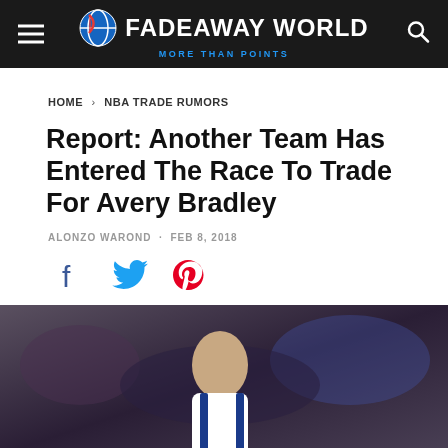FADEAWAY WORLD — MORE THAN POINTS
HOME > NBA TRADE RUMORS
Report: Another Team Has Entered The Race To Trade For Avery Bradley
ALONZO WAROND · FEB 8, 2018
[Figure (other): Social share icons: Facebook, Twitter, Pinterest]
[Figure (photo): Photo of Avery Bradley in basketball uniform with crowd in the background]